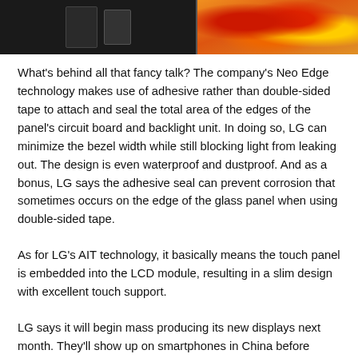[Figure (photo): Partial view of what appears to be a smartphone or display device on the left (dark background with device outlines) and a colorful fruit/produce image on the right side showing red and yellow fruits.]
What's behind all that fancy talk? The company's Neo Edge technology makes use of adhesive rather than double-sided tape to attach and seal the total area of the edges of the panel's circuit board and backlight unit. In doing so, LG can minimize the bezel width while still blocking light from leaking out. The design is even waterproof and dustproof. And as a bonus, LG says the adhesive seal can prevent corrosion that sometimes occurs on the edge of the glass panel when using double-sided tape.
As for LG's AIT technology, it basically means the touch panel is embedded into the LCD module, resulting in a slim design with excellent touch support.
LG says it will begin mass producing its new displays next month. They'll show up on smartphones in China before